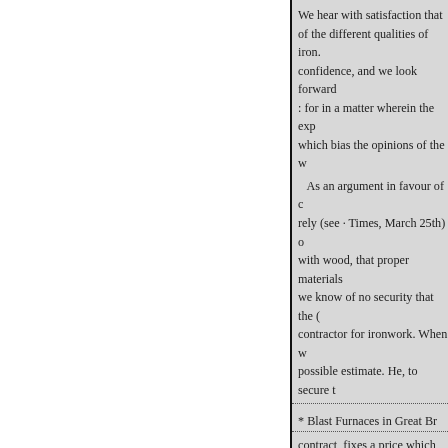We hear with satisfaction that of the different qualities of iron. confidence, and we look forward : for in a matter wherein the exp which bias the opinions of the w
As an argument in favour of c rely (see · Times, March 25th) o with wood, that proper materials we know of no security that the contractor for ironwork. When w possible estimate. He, to secure t
* Blast Furnaces in Great Br
contract, fixes a price which exc from 45s. to 105s.; and his first d employ. In all probability the ma are virtually so much subtracted of the inferior qualities of iron w reliance must not be placed on th